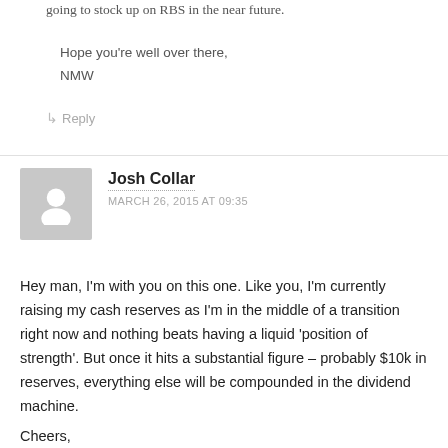going to stock up on RBS in the near future.
Hope you're well over there,
NMW
↳ Reply
Josh Collar
MARCH 26, 2015 AT 09:35
Hey man, I'm with you on this one. Like you, I'm currently raising my cash reserves as I'm in the middle of a transition right now and nothing beats having a liquid 'position of strength'. But once it hits a substantial figure – probably $10k in reserves, everything else will be compounded in the dividend machine.
Cheers,